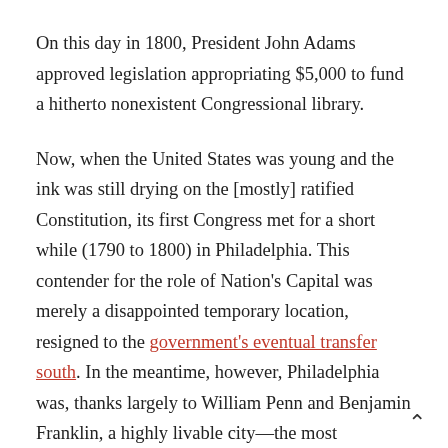On this day in 1800, President John Adams approved legislation appropriating $5,000 to fund a hitherto nonexistent Congressional library.
Now, when the United States was young and the ink was still drying on the [mostly] ratified Constitution, its first Congress met for a short while (1790 to 1800) in Philadelphia. This contender for the role of Nation's Capital was merely a disappointed temporary location, resigned to the government's eventual transfer south. In the meantime, however, Philadelphia was, thanks largely to William Penn and Benjamin Franklin, a highly livable city—the most populated in the country (Washington, DC wasn't even in the Top Twenty), with paved and lighted streets lined with sidewalks, fine